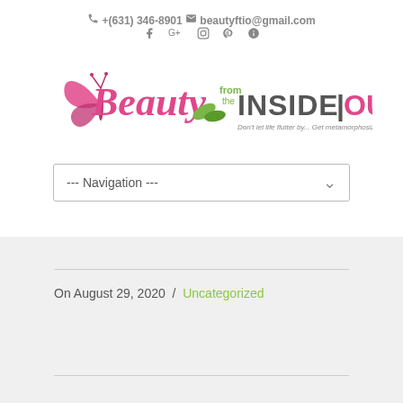+(631) 346-8901  beautyftio@gmail.com
[Figure (logo): Beauty from the INSIDE|OUT logo with butterfly and leaves. Tagline: Don't let life flutter by... Get metamorphosized]
--- Navigation ---
On August 29, 2020 / Uncategorized